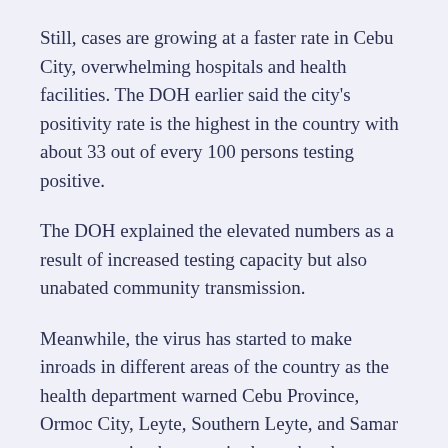Still, cases are growing at a faster rate in Cebu City, overwhelming hospitals and health facilities. The DOH earlier said the city's positivity rate is the highest in the country with about 33 out of every 100 persons testing positive.
The DOH explained the elevated numbers as a result of increased testing capacity but also unabated community transmission.
Meanwhile, the virus has started to make inroads in different areas of the country as the health department warned Cebu Province, Ormoc City, Leyte, Southern Leyte, and Samar were emerging hotspots in the outbreak.